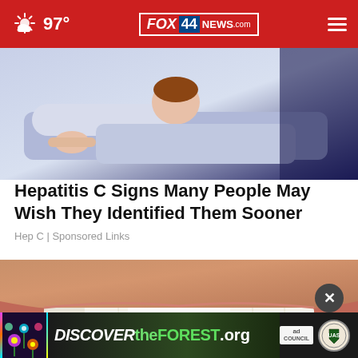97° FOX 44 NEWS.com
[Figure (illustration): Illustration of a person lying in bed, appearing unwell, with muted blue-purple tones]
Hepatitis C Signs Many People May Wish They Identified Them Sooner
Hep C | Sponsored Links
[Figure (photo): Close-up photo of a smiling person's teeth and lower face]
[Figure (infographic): DISCOVERtheFOREST.org ad banner with Ad Council and US Forest Service logos]